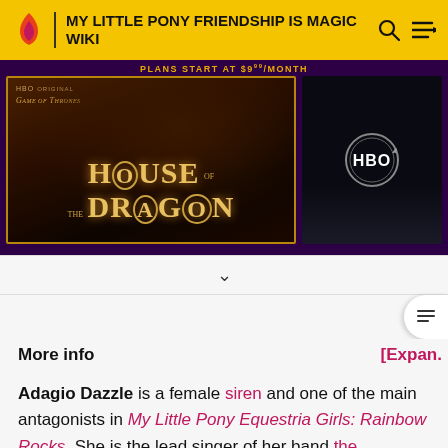MY LITTLE PONY FRIENDSHIP IS MAGIC WIKI
[Figure (screenshot): Advertisement banner for HBO's House of the Dragon (Game of Thrones spin-off) showing dark fantasy imagery with golden title text, alongside an HBO logo on dark background. Banner header reads 'PLANS START AT $9.99/MONTH']
More info   [Expand]
Adagio Dazzle is a female siren and one of the main antagonists in My Little Pony Equestria Girls: Rainbow Rocks. She is the lead singer of her band the Dazzlings, rivaling the Rainbooms.